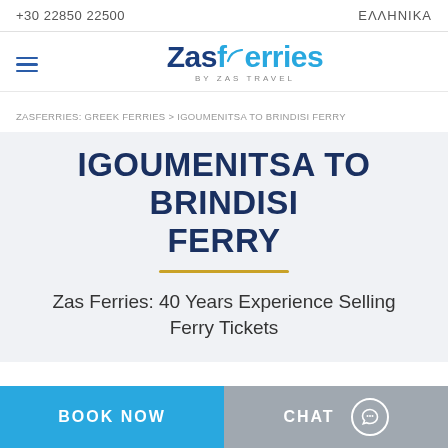+30 22850 22500   ΕΛΛΗΝΙΚΑ
[Figure (logo): Zasferries by Zas Travel logo with hamburger menu icon]
ZASFERRIES: GREEK FERRIES > IGOUMENITSA TO BRINDISI FERRY
IGOUMENITSA TO BRINDISI FERRY
Zas Ferries: 40 Years Experience Selling Ferry Tickets
BOOK NOW   CHAT